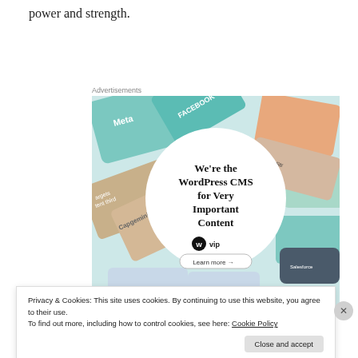power and strength.
Advertisements
[Figure (illustration): WordPress VIP advertisement banner showing logos of Meta, Facebook, Capgemini, Merck, Salesforce and others arranged around a central white circle with text: We're the WordPress CMS for Very Important Content, with WordPress VIP logo and Learn more button.]
Privacy & Cookies: This site uses cookies. By continuing to use this website, you agree to their use.
To find out more, including how to control cookies, see here: Cookie Policy
Close and accept